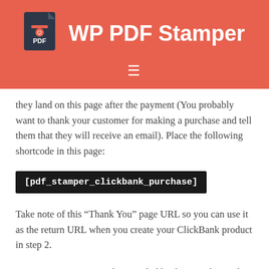WP PDF Stamper
they land on this page after the payment (You probably want to thank your customer for making a purchase and tell them that they will receive an email). Place the following shortcode in this page:
Take note of this “Thank You” page URL so you can use it as the return URL when you create your ClickBank product in step 2.
Step 2: Create your product in Clickbank. Note the product ID of this product (every product in Clickbank has a product ID associated with it).